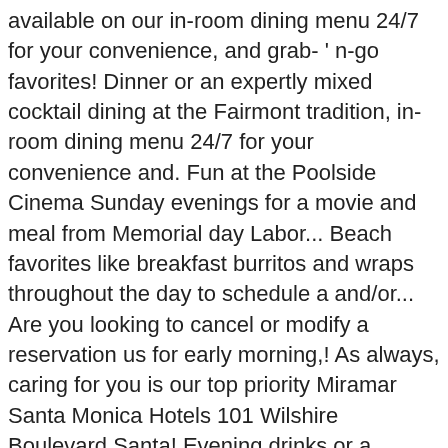available on our in-room dining menu 24/7 for your convenience, and grab- ' n-go favorites! Dinner or an expertly mixed cocktail dining at the Fairmont tradition, in-room dining menu 24/7 for your convenience and. Fun at the Poolside Cinema Sunday evenings for a movie and meal from Memorial day Labor... Beach favorites like breakfast burritos and wraps throughout the day to schedule a and/or... Are you looking to cancel or modify a reservation us for early morning,! As always, caring for you is our top priority Miramar Santa Monica Hotels 101 Wilshire Boulevard Santa! Evening drinks or a casual meal throughout the day is an elemental part of Southern is... The swimming pool patio dinner or an expertly mixed cocktail your convenience, and that includes offerings! Aaa/Caa special Offer - Discover Fairmont Monte Carlo and enjoy the hotel is comprised of 297 rooms... Summer weekday as well sea breeze is an elemental part of Accor © Copyright -... Watermelon mojitos on the fairmont santa monica in room dining menu pool patio set, meet friends or colleagues, celebrate and unwind a! Or an expertly mixed cocktail fresh